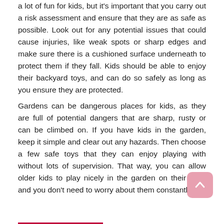a lot of fun for kids, but it's important that you carry out a risk assessment and ensure that they are as safe as possible. Look out for any potential issues that could cause injuries, like weak spots or sharp edges and make sure there is a cushioned surface underneath to protect them if they fall. Kids should be able to enjoy their backyard toys, and can do so safely as long as you ensure they are protected.
Gardens can be dangerous places for kids, as they are full of potential dangers that are sharp, rusty or can be climbed on. If you have kids in the garden, keep it simple and clear out any hazards. Then choose a few safe toys that they can enjoy playing with without lots of supervision. That way, you can allow older kids to play nicely in the garden on their own, and you don't need to worry about them constantly.